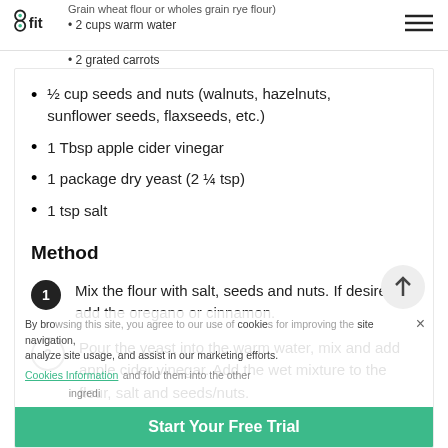8fit
2 cups warm water
2 grated carrots
½ cup seeds and nuts (walnuts, hazelnuts, sunflower seeds, flaxseeds, etc.)
1 Tbsp apple cider vinegar
1 package dry yeast (2 ¼ tsp)
1 tsp salt
Method
Mix the flour with salt, seeds and nuts. If desired, add the oregano or cinnamon.
Pour the yeast into the warm water, mix and add apple cider vinegar. Add the wet mixture to the flour, salt and seeds/nuts.
By browsing this site, you agree to our use of cookies for personalized content, site navigation, analyze site usage, and assist in our marketing efforts.
Cookies Information
Start Your Free Trial